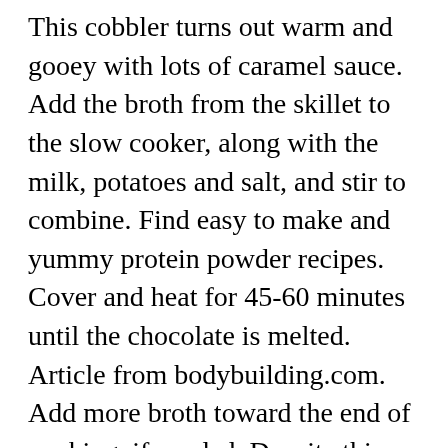This cobbler turns out warm and gooey with lots of caramel sauce. Add the broth from the skillet to the slow cooker, along with the milk, potatoes and salt, and stir to combine. Find easy to make and yummy protein powder recipes. Cover and heat for 45-60 minutes until the chocolate is melted. Article from bodybuilding.com. Add more broth toward the end of cooking, if needed. Despite this revelation, I have very mixed feelings about this recipe. On the other hand, I now make a lot of caramel. Melanie has tons of Keto, paleo, low carb gluten-free, nut-free recipes for breakfast, smoothies, desserts, shakes & more to help you feel full for hours! Add some